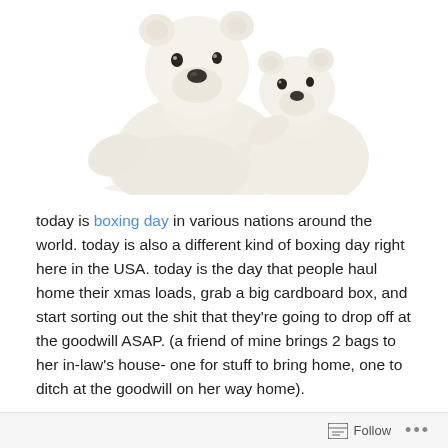[Figure (photo): Two white polar bear figurines/statues cuddled together against a white background. One larger bear face forward and a smaller one nestled beside it.]
today is boxing day in various nations around the world. today is also a different kind of boxing day right here in the USA. today is the day that people haul home their xmas loads, grab a big cardboard box, and start sorting out the shit that they're going to drop off at the goodwill ASAP. (a friend of mine brings 2 bags to her in-law's house- one for stuff to bring home, one to ditch at the goodwill on her way home).
Follow ...